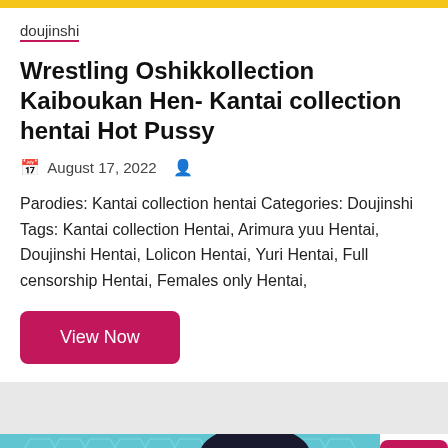doujinshi
Wrestling Oshikkollection Kaiboukan Hen- Kantai collection hentai Hot Pussy
August 17, 2022
Parodies: Kantai collection hentai Categories: Doujinshi Tags: Kantai collection Hentai, Arimura yuu Hentai, Doujinshi Hentai, Lolicon Hentai, Yuri Hentai, Full censorship Hentai, Females only Hentai,
View Now
[Figure (illustration): Anime-style manga cover showing a character with dark hair on a teal hexagonal pattern background with Japanese kanji text]